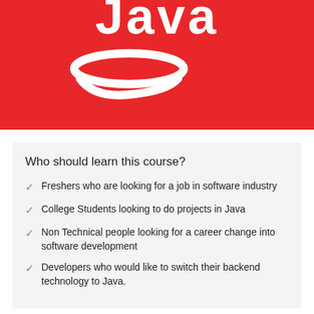[Figure (logo): Java programming language logo on red background — white coffee cup steam swirl and 'Java' text in white]
Who should learn this course?
Freshers who are looking for a job in software industry
College Students looking to do projects in Java
Non Technical people looking for a career change into software development
Developers who would like to switch their backend technology to Java.
Is this a certificate course?